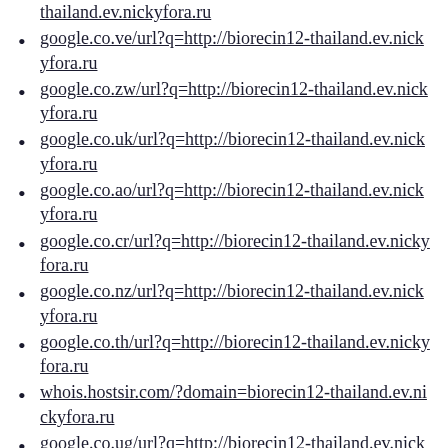thailand.ev.nickyfora.ru
google.co.ve/url?q=http://biorecin12-thailand.ev.nickyfora.ru
google.co.zw/url?q=http://biorecin12-thailand.ev.nickyfora.ru
google.co.uk/url?q=http://biorecin12-thailand.ev.nickyfora.ru
google.co.ao/url?q=http://biorecin12-thailand.ev.nickyfora.ru
google.co.cr/url?q=http://biorecin12-thailand.ev.nickyfora.ru
google.co.nz/url?q=http://biorecin12-thailand.ev.nickyfora.ru
google.co.th/url?q=http://biorecin12-thailand.ev.nickyfora.ru
whois.hostsir.com/?domain=biorecin12-thailand.ev.nickyfora.ru
google.co.ug/url?q=http://biorecin12-thailand.ev.nickyfora.ru